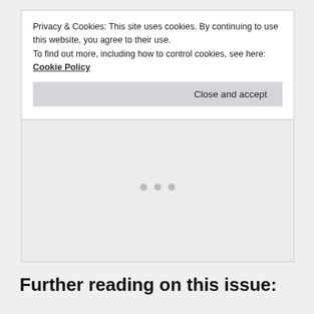Privacy & Cookies: This site uses cookies. By continuing to use this website, you agree to their use.
To find out more, including how to control cookies, see here: Cookie Policy
Close and accept
[Figure (other): Advertisement placeholder area with three dots indicating loading]
Further reading on this issue: